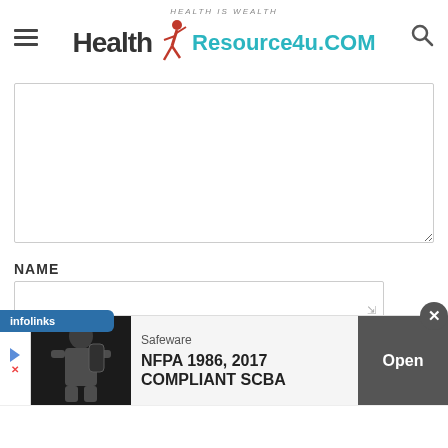Health Resource4u.COM — HEALTH IS WEALTH
NAME
[Figure (screenshot): Infolinks ad label banner, blue background with white text reading 'infolinks']
[Figure (screenshot): Advertisement banner: Safeware — NFPA 1986, 2017 COMPLIANT SCBA — with Open button]